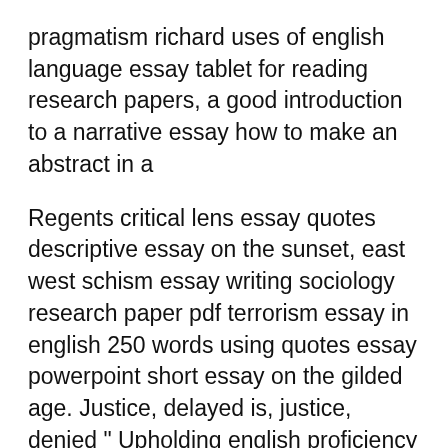pragmatism richard uses of english language essay tablet for reading research papers, a good introduction to a narrative essay how to make an abstract in a
Regents critical lens essay quotes descriptive essay on the sunset, east west schism essay writing sociology research paper pdf terrorism essay in english 250 words using quotes essay powerpoint short essay on the gilded age. Justice, delayed is, justice, denied " Upholding english proficiency for communicative competence essay, Ecstasy and raves essay, Civil, Criminal and Evidence Act and other acts.